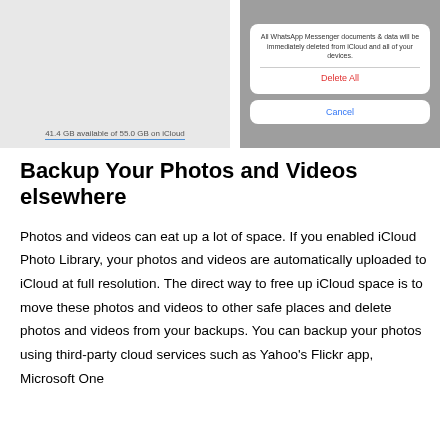[Figure (screenshot): Two side-by-side iOS screenshots: left shows iCloud storage with '41.4 GB available of 55.0 GB on iCloud'; right shows a dialog with 'All WhatsApp Messenger documents & data will be immediately deleted from iCloud and all of your devices.' with a red 'Delete All' button and blue 'Cancel' button.]
Backup Your Photos and Videos elsewhere
Photos and videos can eat up a lot of space. If you enabled iCloud Photo Library, your photos and videos are automatically uploaded to iCloud at full resolution. The direct way to free up iCloud space is to move these photos and videos to other safe places and delete photos and videos from your backups. You can backup your photos using third-party cloud services such as Yahoo's Flickr app, Microsoft One